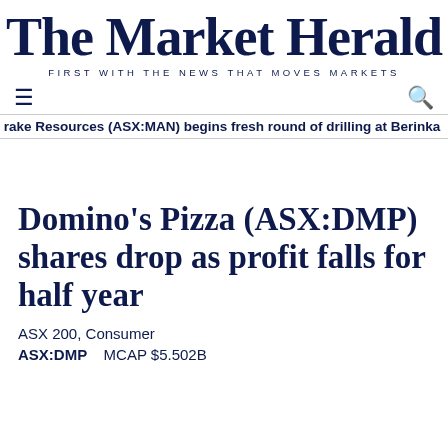The Market Herald
FIRST WITH THE NEWS THAT MOVES MARKETS
rake Resources (ASX:MAN) begins fresh round of drilling at Berinka
Domino's Pizza (ASX:DMP) shares drop as profit falls for half year
ASX 200, Consumer
ASX:DMP    MCAP $5.502B